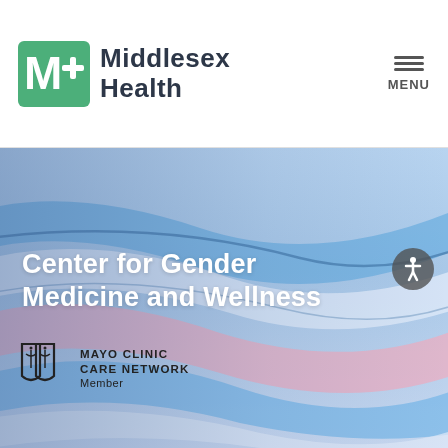[Figure (logo): Middlesex Health logo with green M+ icon and dark text 'Middlesex Health']
[Figure (logo): Hamburger menu icon with three horizontal bars and MENU label]
[Figure (photo): Hero banner with colorful flowing fabric in blue, pink, and white (transgender pride flag colors) as background]
Center for Gender Medicine and Wellness
[Figure (logo): Mayo Clinic Care Network Member badge with shield logo]
[Figure (illustration): Accessibility icon - white person figure in circle on dark background]